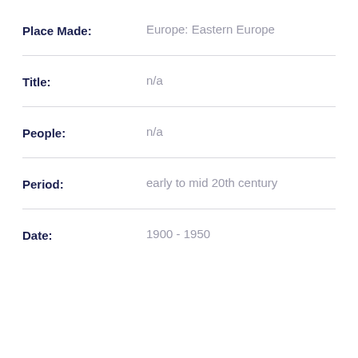Place Made: Europe: Eastern Europe
Title: n/a
People: n/a
Period: early to mid 20th century
Date: 1900 - 1950